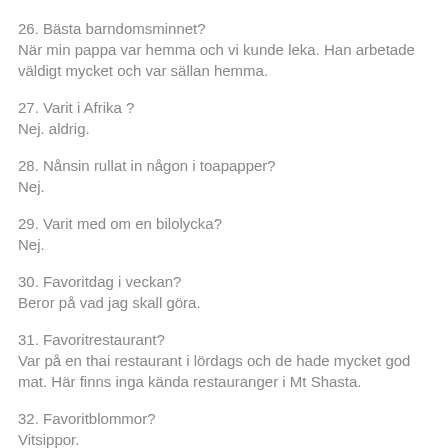26. Bästa barndomsminnet?
När min pappa var hemma och vi kunde leka. Han arbetade väldigt mycket och var sällan hemma.
27. Varit i Afrika ?
Nej. aldrig.
28. Nånsin rullat in någon i toapapper?
Nej.
29. Varit med om en bilolycka?
Nej.
30. Favoritdag i veckan?
Beror på vad jag skall göra.
31. Favoritrestaurant?
Var på en thai restaurant i lördags och de hade mycket god mat. Här finns inga kända restauranger i Mt Shasta.
32. Favoritblommor?
Vitsippor.